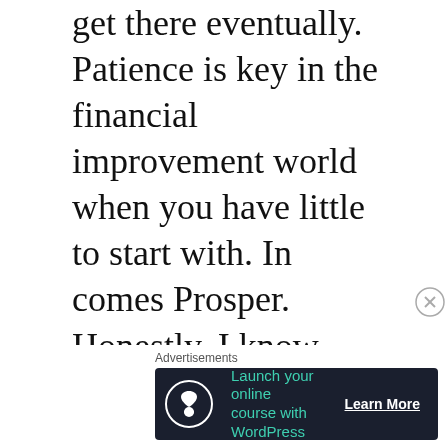get there eventually. Patience is key in the financial improvement world when you have little to start with. In comes Prosper. Honestly, I know more about Prosper than Lending Club simply because I am able to invest with them. Prosper only requires a first deposit of $25 and the minimum to invest in a loan is
[Figure (other): Advertisement banner: 'Advertisements' label above a dark navy banner with a circular tree/person icon, teal text 'Launch your online course with WordPress', and a white underlined 'Learn More' button. A close (X) button appears to the right of the banner area.]